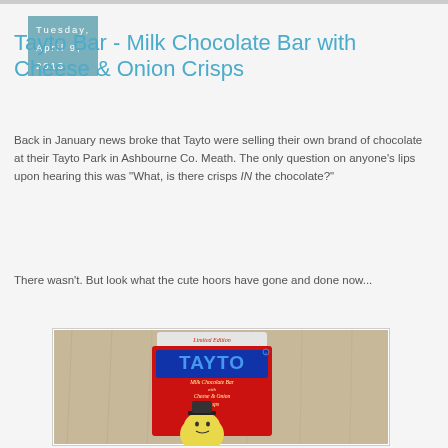Tuesday, April 9, 2013
Tayto Bar - Milk Chocolate Bar with Cheese & Onion Crisps
Back in January news broke that Tayto were selling their own brand of chocolate at their Tayto Park in Ashbourne Co. Meath. The only question on anyone's lips upon hearing this was "What, is there crisps IN the chocolate?"
There wasn't. But look what the cute hoors have gone and done now...
[Figure (photo): Photo of a Tayto Milk Chocolate Bar with Cheese & Onion Crisps packaging (Limited Edition), placed on a wooden surface. The red packaging shows the TAYTO brand name in blue letters with the mascot character at the bottom.]